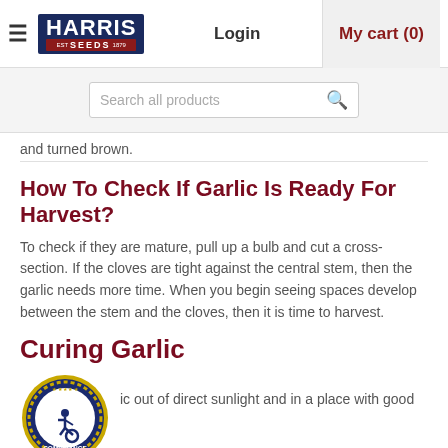Harris Seeds | Login | My cart (0)
[Figure (screenshot): Search bar with placeholder 'Search all products' and a dark red magnifying glass icon]
and turned brown.
How To Check If Garlic Is Ready For Harvest?
To check if they are mature, pull up a bulb and cut a cross-section. If the cloves are tight against the central stem, then the garlic needs more time. When you begin seeing spaces develop between the stem and the cloves, then it is time to harvest.
Curing Garlic
[Figure (logo): ADA Site Compliance badge — blue circular seal with wheelchair accessibility icon and gold stars, text reads ADA SITE COMPLIANCE]
ic out of direct sunlight and in a place with good
How Long Should Garlic Cure For?